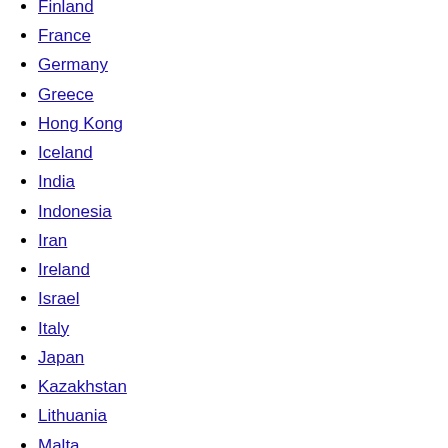Finland
France
Germany
Greece
Hong Kong
Iceland
India
Indonesia
Iran
Ireland
Israel
Italy
Japan
Kazakhstan
Lithuania
Malta
Morocco
Namibia
Netherlands
New Zealand
Norway
Pakistan
Palestine
Peru
Philippines